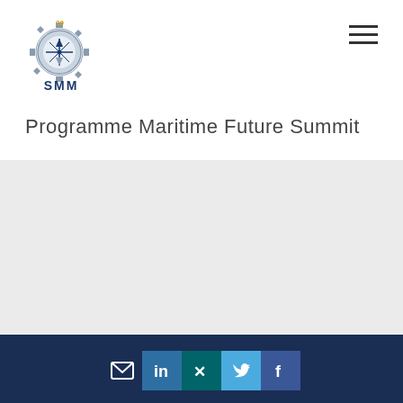[Figure (logo): SMM 30th anniversary gear/compass logo with text SMM below]
[Figure (other): Hamburger menu icon (three horizontal lines)]
Programme Maritime Future Summit
[Figure (logo): MARINE INTERIORS | Cruise & Ferry Global Expo Powered by SMM logo on gray background]
[Figure (logo): INMEX SMM INDIA logo - orange wave icon, gear/compass icon, blue India bar]
[Figure (logo): WindEnergy Hamburg logo - blue/green swirl icon with WindEnergy Hamburg text]
Social media icons: email, LinkedIn, Xing, Twitter, Facebook